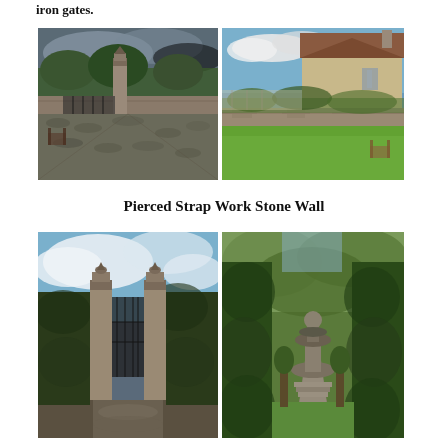iron gates.
[Figure (photo): Stone gateway with iron gates and stone pillars, cobblestone courtyard, dramatic cloudy sky and trees in background]
[Figure (photo): Stone manor house with garden wall, bright blue sky, green grass lawn with a wooden bench]
Pierced Strap Work Stone Wall
[Figure (photo): Stone gate pillars with finials and iron gates, clipped yew hedges, blue sky]
[Figure (photo): Garden with central stone fountain, tall green hedgerows on either side, path leading to steps and hillside with trees]